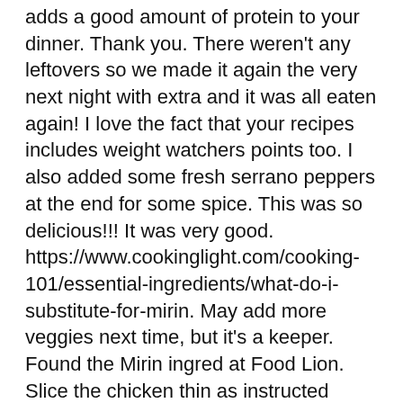adds a good amount of protein to your dinner. Thank you. There weren't any leftovers so we made it again the very next night with extra and it was all eaten again! I love the fact that your recipes includes weight watchers points too. I also added some fresh serrano peppers at the end for some spice. This was so delicious!!! It was very good. https://www.cookinglight.com/cooking-101/essential-ingredients/what-do-i-substitute-for-mirin. May add more veggies next time, but it's a keeper. Found the Mirin ingred at Food Lion. Slice the chicken thin as instructed above. If u sont have mirin what can I use in its place? Everything he eats needs to be super tender or it is too dry to swallow. This information will not be used for any purpose other than enabling you to post a comment. I made it exactly as is, and it's very, very good. I cook almost everyday for my family & sometimes I ran out of ideas. You were supposed to rinse it off completely. Will definitely be making this again. with any salad or brown rice, quinoa, potatoes etc. The flavours were delicious, love the sesame. We tossed in some sugar snap